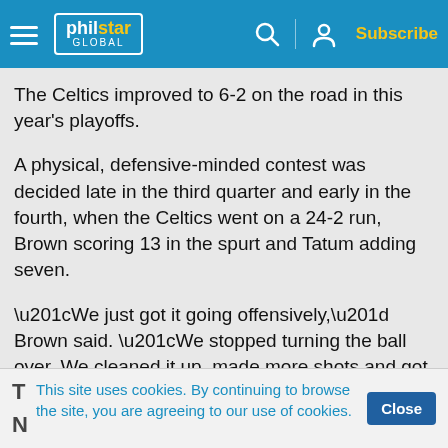philstar GLOBAL — Subscribe
The Celtics improved to 6-2 on the road in this year's playoffs.
A physical, defensive-minded contest was decided late in the third quarter and early in the fourth, when the Celtics went on a 24-2 run, Brown scoring 13 in the spurt and Tatum adding seven.
“We just got it going offensively,” Brown said. “We stopped turning the ball over. We cleaned it up, made more shots and got settled in.”
This site uses cookies. By continuing to browse the site, you are agreeing to our use of cookies.